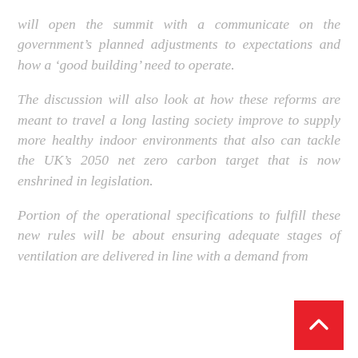will open the summit with a communicate on the government's planned adjustments to expectations and how a 'good building' need to operate.
The discussion will also look at how these reforms are meant to travel a long lasting society improve to supply more healthy indoor environments that also can tackle the UK's 2050 net zero carbon target that is now enshrined in legislation.
Portion of the operational specifications to fulfill these new rules will be about ensuring adequate stages of ventilation are delivered in line with a demand from